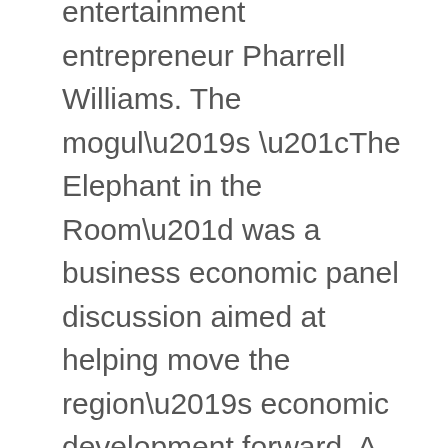entertainment entrepreneur Pharrell Williams. The mogul's “The Elephant in the Room” was a business economic panel discussion aimed at helping move the region’s economic development forward. A group of financial investors told an audience of invited businesspeople, community leaders, alumni, students and faculty that the city of Norfolk and Norfolk State University are the types of communities and institutions